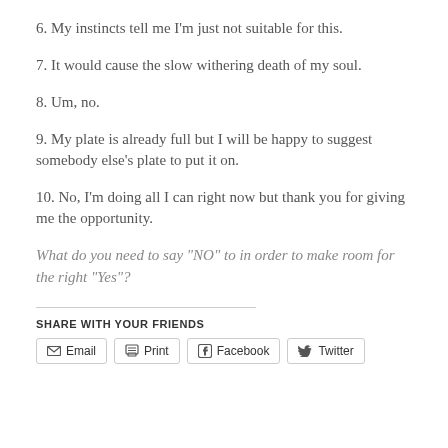6. My instincts tell me I'm just not suitable for this.
7. It would cause the slow withering death of my soul.
8. Um, no.
9. My plate is already full but I will be happy to suggest somebody else's plate to put it on.
10. No, I'm doing all I can right now but thank you for giving me the opportunity.
What do you need to say “NO” to in order to make room for the right “Yes”?
SHARE WITH YOUR FRIENDS